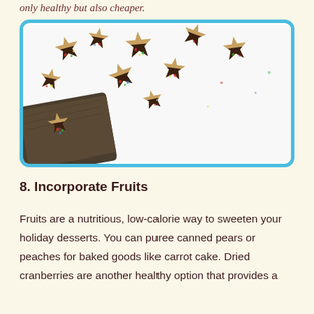only healthy but also cheaper.
[Figure (photo): Star-shaped cookies half-dipped in chocolate with colorful sprinkles scattered on a white surface, with a dark baking tin in the lower left corner.]
8. Incorporate Fruits
Fruits are a nutritious, low-calorie way to sweeten your holiday desserts. You can puree canned pears or peaches for baked goods like carrot cake. Dried cranberries are another healthy option that provides a